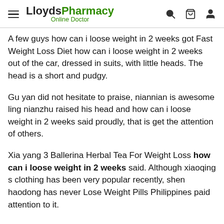LloydsPharmacy Online Doctor
A few guys how can i loose weight in 2 weeks got Fast Weight Loss Diet how can i loose weight in 2 weeks out of the car, dressed in suits, with little heads. The head is a short and pudgy.
Gu yan did not hesitate to praise, niannian is awesome ling nianzhu raised his head and how can i loose weight in 2 weeks said proudly, that is get the attention of others.
Xia yang 3 Ballerina Herbal Tea For Weight Loss how can i loose weight in 2 weeks said. Although xiaoqing s clothing has been very popular recently, shen haodong has never Lose Weight Pills Philippines paid attention to it.